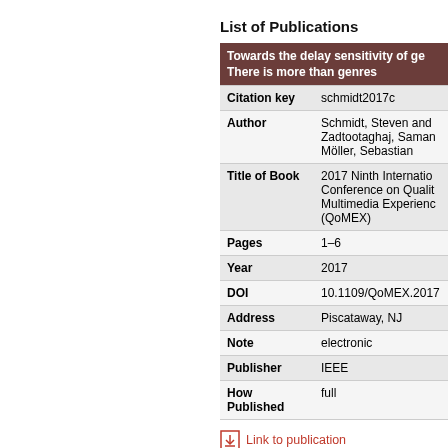List of Publications
| Towards the delay sensitivity of genres There is more than genres |
| --- |
| Citation key | schmidt2017c |
| Author | Schmidt, Steven and Zadtootaghaj, Saman Möller, Sebastian |
| Title of Book | 2017 Ninth International Conference on Quality of Multimedia Experience (QoMEX) |
| Pages | 1–6 |
| Year | 2017 |
| DOI | 10.1109/QoMEX.2017 |
| Address | Piscataway, NJ |
| Note | electronic |
| Publisher | IEEE |
| How Published | full |
Link to publication